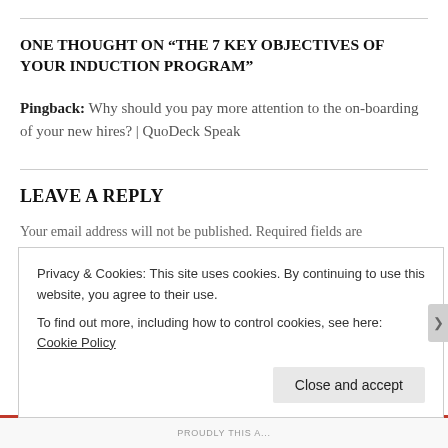ONE THOUGHT ON “THE 7 KEY OBJECTIVES OF YOUR INDUCTION PROGRAM”
Pingback: Why should you pay more attention to the on-boarding of your new hires? | QuoDeck Speak
LEAVE A REPLY
Your email address will not be published. Required fields are marked *
Privacy & Cookies: This site uses cookies. By continuing to use this website, you agree to their use.
To find out more, including how to control cookies, see here: Cookie Policy